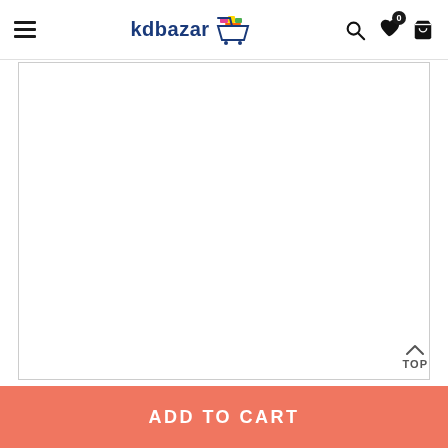kdbazar — navigation bar with hamburger menu, search, wishlist, and cart icons
[Figure (screenshot): Empty white product image area with border]
TOP
ADD TO CART